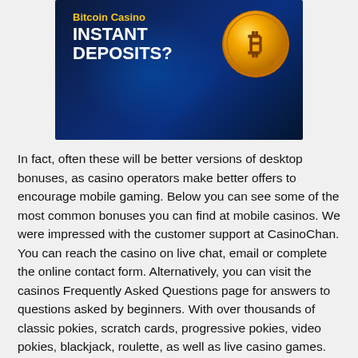[Figure (illustration): Bitcoin Casino advertisement banner on dark blue background with glowing light effects, showing yellow 'Bitcoin Casino' text, white bold 'INSTANT DEPOSITS?' text, and a gold Bitcoin coin on the right side.]
In fact, often these will be better versions of desktop bonuses, as casino operators make better offers to encourage mobile gaming. Below you can see some of the most common bonuses you can find at mobile casinos. We were impressed with the customer support at CasinoChan. You can reach the casino on live chat, email or complete the online contact form. Alternatively, you can visit the casinos Frequently Asked Questions page for answers to questions asked by beginners. With over thousands of classic pokies, scratch cards, progressive pokies, video pokies, blackjack, roulette, as well as live casino games.